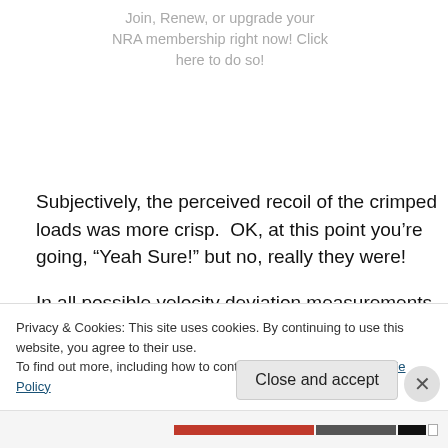Join, Renew, or upgrade your NRA membership right now! Click here to do so!
Subjectively, the perceived recoil of the crimped loads was more crisp.  OK, at this point you’re going, “Yeah Sure!” but no, really they were!
In all possible velocity deviation measurements, the crimped loads were far more consistent. So, the logical conclusion is that “I was Right” in my theoretical deductions.  OK so the WHY do the groups not confirm
Privacy & Cookies: This site uses cookies. By continuing to use this website, you agree to their use.
To find out more, including how to control cookies, see here: Cookie Policy
Close and accept